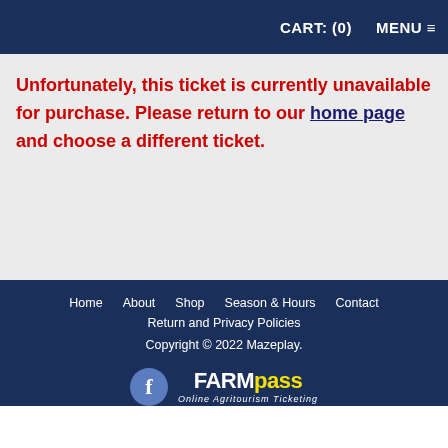CART: (0)   MENU ≡
Unfortunately, this ticket is currently unavailable for purchase. Please return to our home page and choose a different ticket.
Home   About   Shop   Season & Hours   Contact   Return and Privacy Policies   Copyright © 2022 Mazeplay.